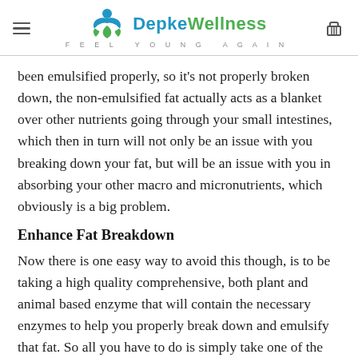Depke Wellness — Feel Young Again
been emulsified properly, so it's not properly broken down, the non-emulsified fat actually acts as a blanket over other nutrients going through your small intestines, which then in turn will not only be an issue with you breaking down your fat, but will be an issue with you in absorbing your other macro and micronutrients, which obviously is a big problem.
Enhance Fat Breakdown
Now there is one easy way to avoid this though, is to be taking a high quality comprehensive, both plant and animal based enzyme that will contain the necessary enzymes to help you properly break down and emulsify that fat. So all you have to do is simply take one of the Depke Wellness Prime Enzyme Support. With that full